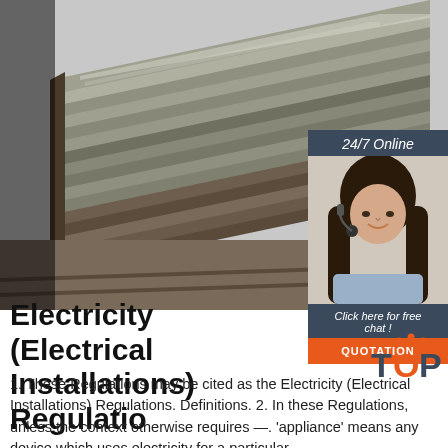[Figure (photo): Stack of steel flat bar/plate material piled on a surface outdoors, viewed at an angle showing layered edges.]
[Figure (photo): Female customer service representative wearing a headset, smiling, shown in a dark blue sidebar panel with '24/7 Online' text above and 'Click here for free chat!' and 'QUOTATION' button below.]
Electricity (Electrical Installations) Regulatio
1. These Regulations may be cited as the Electricity (Electrical Installations) Regulations. Definitions. 2. In these Regulations, unless the context otherwise requires —. 'appliance' means any device which uses electricity for a particular